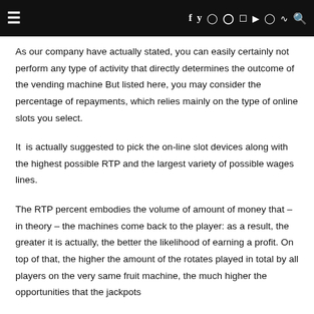≡   f  y  🔔  p  ⬛  ▶  ⬛  RSS  🔍
As our company have actually stated, you can easily certainly not perform any type of activity that directly determines the outcome of the vending machine But listed here, you may consider the percentage of repayments, which relies mainly on the type of online slots you select.
It  is actually suggested to pick the on-line slot devices along with the highest possible RTP and the largest variety of possible wages lines.
The RTP percent embodies the volume of amount of money that – in theory – the machines come back to the player: as a result, the greater it is actually, the better the likelihood of earning a profit. On top of that, the higher the amount of the rotates played in total by all players on the very same fruit machine, the much higher the opportunities that the jackpots